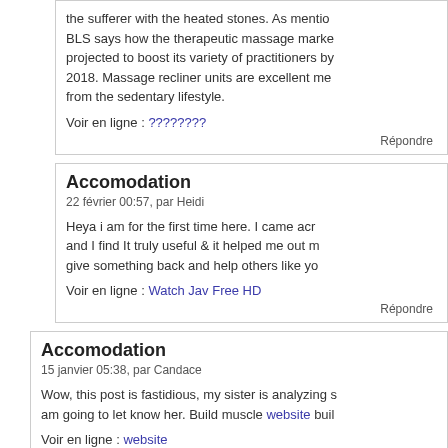the sufferer with the heated stones. As mentioned, BLS says how the therapeutic massage market is projected to boost its variety of practitioners by 2018. Massage recliner units are excellent me from the sedentary lifestyle.
Voir en ligne : ????????
Répondre
Accomodation
22 février 00:57, par Heidi
Heya i am for the first time here. I came acr and I find It truly useful & it helped me out m give something back and help others like yo
Voir en ligne : Watch Jav Free HD
Répondre
Accomodation
15 janvier 05:38, par Candace
Wow, this post is fastidious, my sister is analyzing s am going to let know her. Build muscle website buil
Voir en ligne : website
Répondre